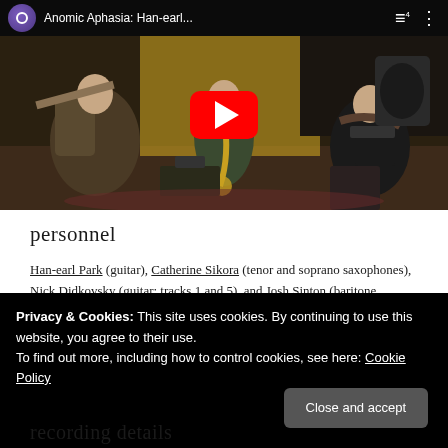[Figure (screenshot): YouTube video thumbnail showing three musicians playing guitar and saxophone in a rehearsal space, with video title 'Anomic Aphasia: Han-earl...' and a red YouTube play button overlay]
personnel
Han-earl Park (guitar), Catherine Sikora (tenor and soprano saxophones), Nick Didkovsky (guitar; tracks 1 and 5), and Josh Sinton (baritone saxophone and bass clarinet; tracks 2-4).
Privacy & Cookies: This site uses cookies. By continuing to use this website, you agree to their use.
To find out more, including how to control cookies, see here: Cookie Policy
recording details